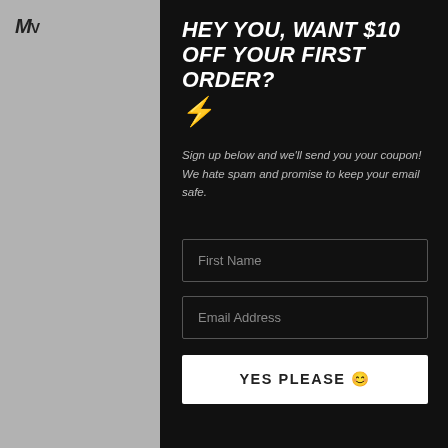[Figure (screenshot): Website popup modal on a grey background. Left side shows partial logo 'M' in top left corner. Right side shows navigation icons. The modal is a black overlay with a promotional signup form.]
HEY YOU, WANT $10 OFF YOUR FIRST ORDER? ⚡
Sign up below and we'll send you your coupon! We hate spam and promise to keep your email safe.
First Name
Email Address
YES PLEASE 🙂